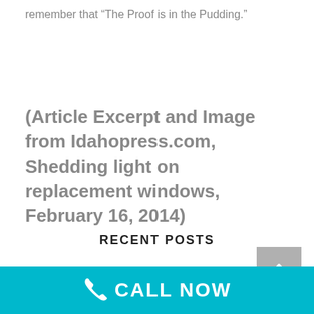remember that “The Proof is in the Pudding.”
(Article Excerpt and Image from Idahopress.com, Shedding light on replacement windows, February 16, 2014)
RECENT POSTS
[Figure (other): Dark banner image placeholder at bottom of page]
CALL NOW